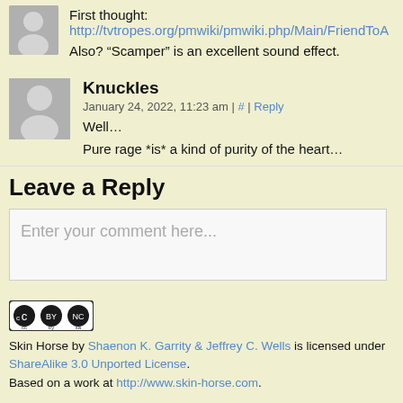First thought: http://tvtropes.org/pmwiki/pmwiki.php/Main/FriendToA
Also? “Scamper” is an excellent sound effect.
Knuckles
January 24, 2022, 11:23 am | # | Reply
Well...
Pure rage *is* a kind of purity of the heart…
Leave a Reply
Enter your comment here...
[Figure (logo): Creative Commons BY NC SA license logo]
Skin Horse by Shaenon K. Garrity & Jeffrey C. Wells is licensed under ShareAlike 3.0 Unported License. Based on a work at http://www.skin-horse.com.
©2007-2022 Skin Horse | Powered by WordPress with ComicPre